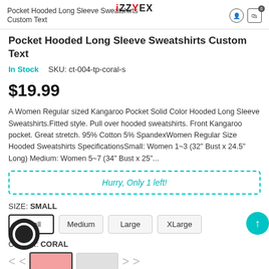Pocket Hooded Long Sleeve Sweatshirts Custom Text
Pocket Hooded Long Sleeve Sweatshirts Custom Text
In Stock   SKU: ct-004-tp-coral-s
$19.99
A Women Regular sized Kangaroo Pocket Solid Color Hooded Long Sleeve Sweatshirts.Fitted style. Pull over hooded sweatshirts. Front Kangaroo pocket. Great stretch. 95% Cotton 5% SpandexWomen Regular Size Hooded Sweatshirts SpecificationsSmall: Women 1~3 (32" Bust x 24.5" Long) Medium: Women 5~7 (34" Bust x 25"...
Hurry, Only 1 left!
SIZE: SMALL
Small  Medium  Large  XLarge
COLOR: CORAL